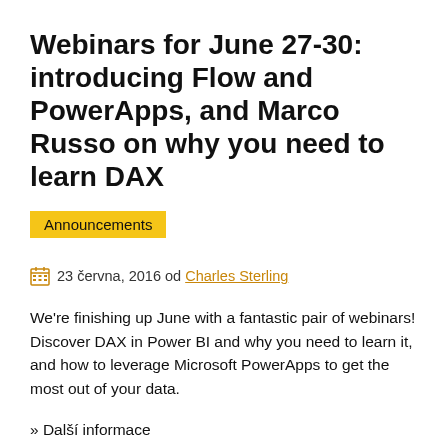Webinars for June 27-30: introducing Flow and PowerApps, and Marco Russo on why you need to learn DAX
Announcements
23 června, 2016 od Charles Sterling
We're finishing up June with a fantastic pair of webinars! Discover DAX in Power BI and why you need to learn it, and how to leverage Microsoft PowerApps to get the most out of your data.
» Další informace